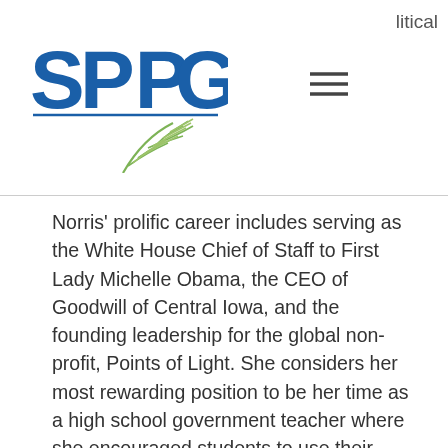[Figure (logo): SPPG logo with blue letters and green plant/leaf graphic element]
litical
Norris' prolific career includes serving as the White House Chief of Staff to First Lady Michelle Obama, the CEO of Goodwill of Central Iowa, and the founding leadership for the global non-profit, Points of Light. She considers her most rewarding position to be her time as a high school government teacher where she encouraged students to use their voices and advocate for causes they believed in.